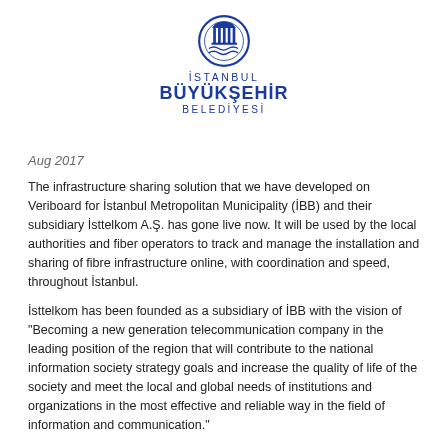[Figure (logo): Istanbul Büyükşehir Belediyesi (Istanbul Metropolitan Municipality) official logo with emblem and text]
Aug 2017
The infrastructure sharing solution that we have developed on Veriboard for İstanbul Metropolitan Municipality (İBB) and their subsidiary İsttelkom A.Ş. has gone live now. It will be used by the local authorities and fiber operators to track and manage the installation and sharing of fibre infrastructure online, with coordination and speed, throughout İstanbul.
İsttelkom has been founded as a subsidiary of İBB with the vision of "Becoming a new generation telecommunication company in the leading position of the region that will contribute to the national information society strategy goals and increase the quality of life of the society and meet the local and global needs of institutions and organizations in the most effective and reliable way in the field of information and communication."